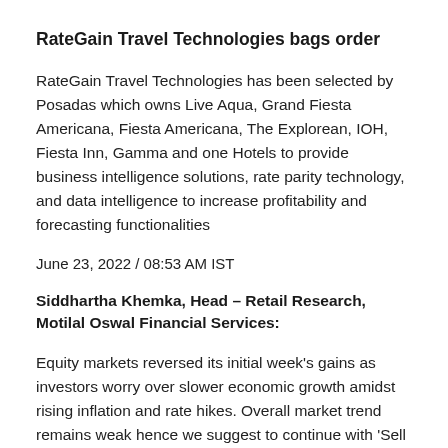RateGain Travel Technologies bags order
RateGain Travel Technologies has been selected by Posadas which owns Live Aqua, Grand Fiesta Americana, Fiesta Americana, The Explorean, IOH, Fiesta Inn, Gamma and one Hotels to provide business intelligence solutions, rate parity technology, and data intelligence to increase profitability and forecasting functionalities
June 23, 2022 / 08:53 AM IST
Siddhartha Khemka, Head – Retail Research, Motilal Oswal Financial Services:
Equity markets reversed its initial week’s gains as investors worry over slower economic growth amidst rising inflation and rate hikes. Overall market trend remains weak hence we suggest to continue with ‘Sell on rise’ strategy for traders.